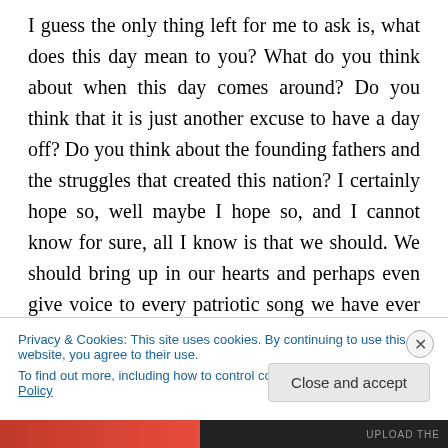I guess the only thing left for me to ask is, what does this day mean to you? What do you think about when this day comes around? Do you think that it is just another excuse to have a day off? Do you think about the founding fathers and the struggles that created this nation? I certainly hope so, well maybe I hope so, and I cannot know for sure, all I know is that we should. We should bring up in our hearts and perhaps even give voice to every patriotic song we have ever heard in our lives. From the time we are little we have heard them in every parade and concert ever held on this day or any other patriotic
Privacy & Cookies: This site uses cookies. By continuing to use this website, you agree to their use.
To find out more, including how to control cookies, see here: Cookie Policy
Close and accept